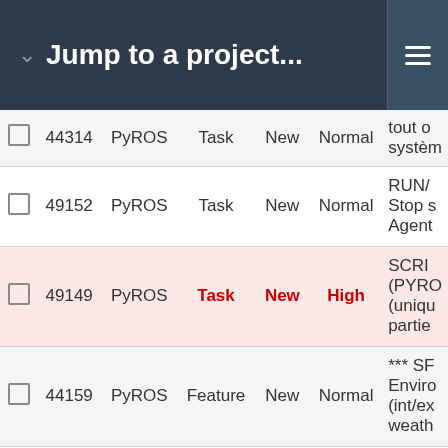Jump to a project...
|  | # | Project | Type | Status | Priority | Subject |
| --- | --- | --- | --- | --- | --- | --- |
|  | 44314 | PyROS | Task | New | Normal | tout o systèm |
|  | 49152 | PyROS | Task | New | Normal | RUN/ Stop s Agent |
|  | 49149 | PyROS | Task | New | High | SCRIP (PYRO (uniqu partie |
|  | 44159 | PyROS | Feature | New | Normal | *** SF Enviro (int/ex weath |
|  | 44907 | PyROS | Task | New | Normal | > Sh Ob mo cor |
|  | 45481 | PyROS | Feature | New | Normal | **** D Progra |
|  | 44892 | PyROS | Task | New | Normal | > SP |